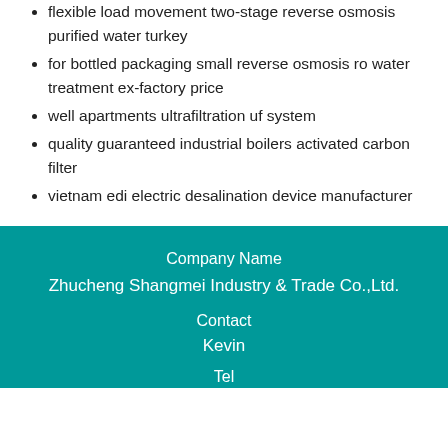flexible load movement two-stage reverse osmosis purified water turkey
for bottled packaging small reverse osmosis ro water treatment ex-factory price
well apartments ultrafiltration uf system
quality guaranteed industrial boilers activated carbon filter
vietnam edi electric desalination device manufacturer
Company Name
Zhucheng Shangmei Industry & Trade Co.,Ltd.
Contact
Kevin
Tel